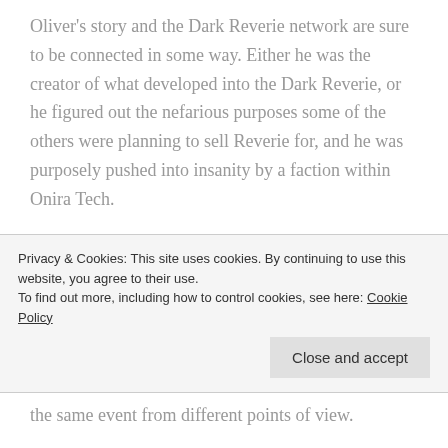Oliver's story and the Dark Reverie network are sure to be connected in some way. Either he was the creator of what developed into the Dark Reverie, or he figured out the nefarious purposes some of the others were planning to sell Reverie for, and he was purposely pushed into insanity by a faction within Onira Tech.
It felt like parts of this episode were rushed. With all of the creative uses of Reveries and flashbacks in this show, surely the basic facts of Oliver's story and the founding of Onira Tech.
Privacy & Cookies: This site uses cookies. By continuing to use this website, you agree to their use.
To find out more, including how to control cookies, see here: Cookie Policy
the same event from different points of view.